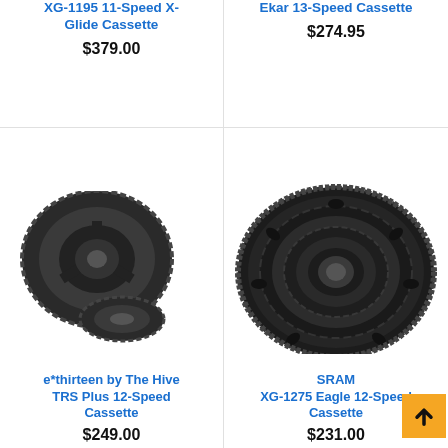XG-1195 11-Speed X-Glide Cassette
$379.00
Ekar 13-Speed Cassette
$274.95
[Figure (photo): e*thirteen by The Hive TRS Plus 12-Speed Cassette - two black cassette sprocket components shown]
e*thirteen by The Hive TRS Plus 12-Speed Cassette
$249.00
[Figure (photo): SRAM XG-1275 Eagle 12-Speed Cassette - large black stacked cassette sprocket set shown from above]
SRAM XG-1275 Eagle 12-Speed Cassette
$231.00